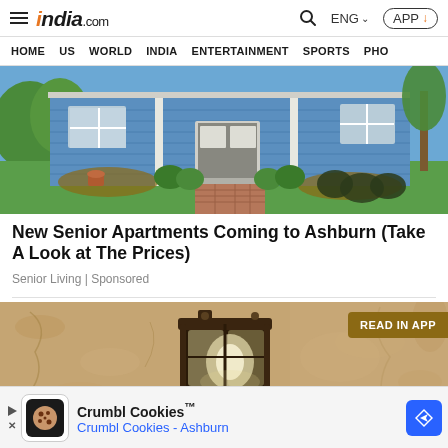india.com — HOME | US | WORLD | INDIA | ENTERTAINMENT | SPORTS | PHO
[Figure (photo): Blue house exterior with landscaping, brick pathway, and garden]
New Senior Apartments Coming to Ashburn (Take A Look at The Prices)
Senior Living | Sponsored
[Figure (photo): Close-up of an outdoor wall lamp/lantern mounted on a textured stucco wall, with READ IN APP overlay banner]
[Figure (other): Crumbl Cookies advertisement banner: Crumbl Cookies™ — Crumbl Cookies - Ashburn]